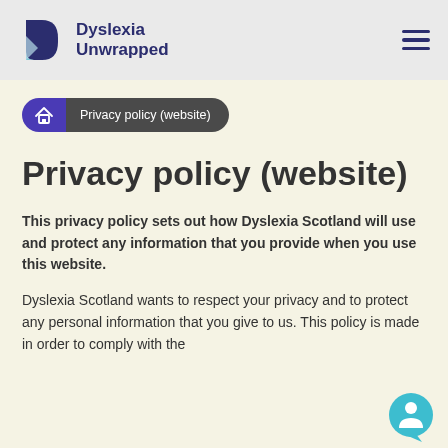Dyslexia Unwrapped
Privacy policy (website)
Privacy policy (website)
This privacy policy sets out how Dyslexia Scotland will use and protect any information that you provide when you use this website.
Dyslexia Scotland wants to respect your privacy and to protect any personal information that you give to us. This policy is made in order to comply with the